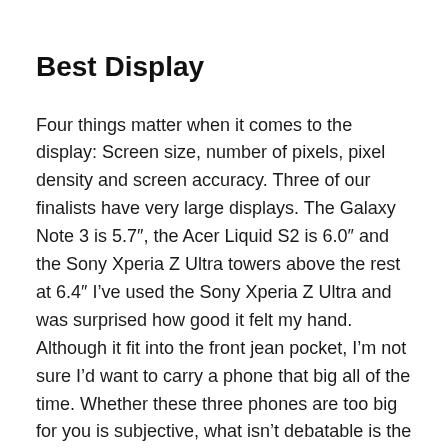Best Display
Four things matter when it comes to the display: Screen size, number of pixels, pixel density and screen accuracy. Three of our finalists have very large displays. The Galaxy Note 3 is 5.7", the Acer Liquid S2 is 6.0" and the Sony Xperia Z Ultra towers above the rest at 6.4" I’ve used the Sony Xperia Z Ultra and was surprised how good it felt my hand. Although it fit into the front jean pocket, I’m not sure I’d want to carry a phone that big all of the time. Whether these three phones are too big for you is subjective, what isn’t debatable is the fact that large screens are better for ever application. It doesn’t matter whether you’re surfing the web, playing a game, watching a video, or using